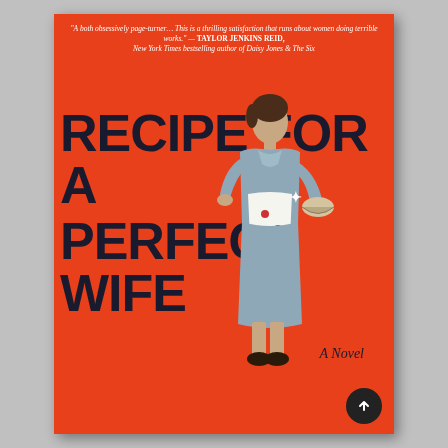[Figure (illustration): Book cover of 'Recipe for a Perfect Wife' — bright orange/red background with a vintage illustration of a 1950s housewife in a blue dress and patterned apron holding a mixing bowl, large bold dark title text across the cover, white blurb at the top, and 'A Novel' in script at the bottom right]